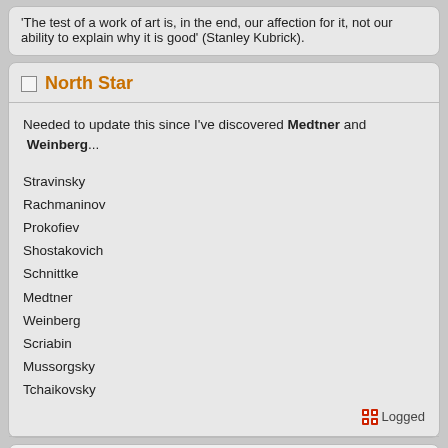'The test of a work of art is, in the end, our affection for it, not our ability to explain why it is good' (Stanley Kubrick).
North Star
Needed to update this since I've discovered Medtner and Weinberg...
Stravinsky
Rachmaninov
Prokofiev
Shostakovich
Schnittke
Medtner
Weinberg
Scriabin
Mussorgsky
Tchaikovsky
Logged
"Everything has beauty, but not everyone sees it." - Confucius
My photographs on Flickr